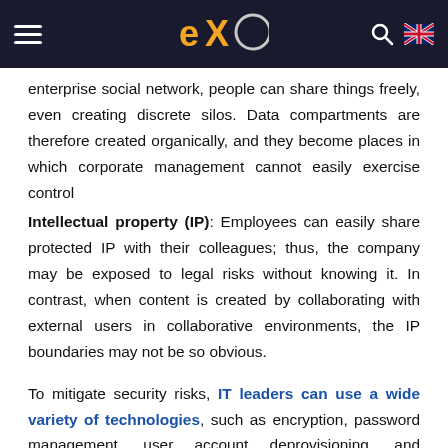eXo platform navigation header
enterprise social network, people can share things freely, even creating discrete silos. Data compartments are therefore created organically, and they become places in which corporate management cannot easily exercise control
Intellectual property (IP): Employees can easily share protected IP with their colleagues; thus, the company may be exposed to legal risks without knowing it. In contrast, when content is created by collaborating with external users in collaborative environments, the IP boundaries may not be so obvious.
To mitigate security risks, IT leaders can use a wide variety of technologies, such as encryption, password management, user account deprovisioning, and associated access control mechanisms. But while adopting such